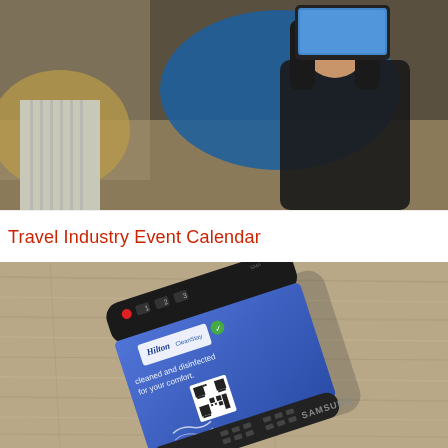[Figure (photo): Person holding a smartphone taking a photo, with blurred colorful background including yellow and blue elements]
Travel Industry Event Calendar
[Figure (photo): A Samsung TV remote control with a Hilton CleanStay blue label wrap reading 'cleaned and disinfected for your comfort' with QR code, lying on a wooden surface]